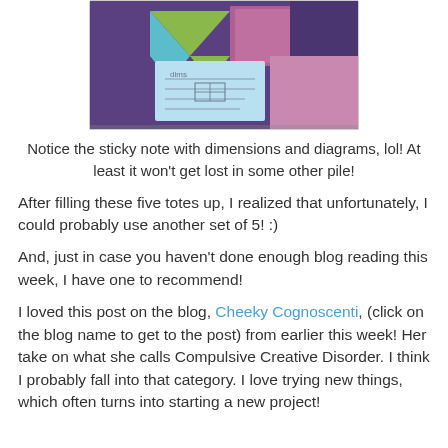[Figure (photo): Photo of a quilt project in a purple tote/box with colorful quilt blocks (green, teal, blue, floral fabrics) and a sticky note with handwritten dimensions and diagrams on top.]
Notice the sticky note with dimensions and diagrams, lol!  At least it won't get lost in some other pile!
After filling these five totes up, I realized that unfortunately, I could probably use another set of 5!  :)
And, just in case you haven't done enough blog reading this week, I have one to recommend!
I loved this post on the blog, Cheeky Cognoscenti, (click on the blog name to get to the post) from earlier this week!  Her take on what she calls Compulsive Creative Disorder.  I think I probably fall into that category.  I love trying new things, which often turns into starting a new project!